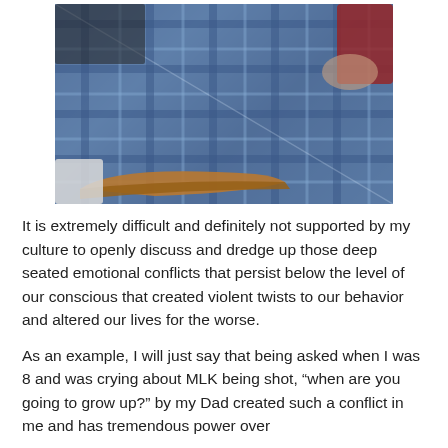[Figure (photo): A person lying or sitting in a chair covered with a blue plaid blanket/clothing, with a wooden chair arm visible and a white pillow. The scene appears to be indoors.]
It is extremely difficult and definitely not supported by my culture to openly discuss and dredge up those deep seated emotional conflicts that persist below the level of our conscious that created violent twists to our behavior and altered our lives for the worse.
As an example, I will just say that being asked when I was 8 and was crying about MLK being shot, “when are you going to grow up?” by my Dad created such a conflict in me and has tremendous power over